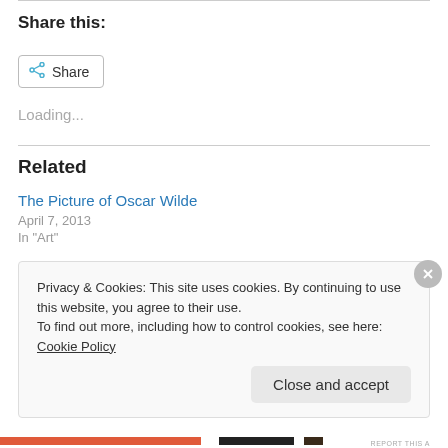Share this:
[Figure (other): Share button with share icon]
Loading...
Related
The Picture of Oscar Wilde
April 7, 2013
In "Art"
Privacy & Cookies: This site uses cookies. By continuing to use this website, you agree to their use.
To find out more, including how to control cookies, see here: Cookie Policy
Close and accept